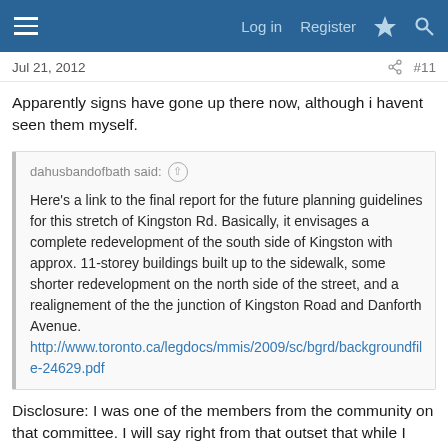Log in  Register
Jul 21, 2012  #11
Apparently signs have gone up there now, although i havent seen them myself.
dahusbandofbath said: ↑
Here's a link to the final report for the future planning guidelines for this stretch of Kingston Rd. Basically, it envisages a complete redevelopment of the south side of Kingston with approx. 11-storey buildings built up to the sidewalk, some shorter redevelopment on the north side of the street, and a realignement of the the junction of Kingston Road and Danforth Avenue.
http://www.toronto.ca/legdocs/mmis/2009/sc/bgrd/backgroundfile-24629.pdf
Disclosure: I was one of the members from the community on that committee. I will say right from that outset that while I agree a large building like that will stand out initially, I think that's in some ways a good thing. That strip is extremely depressing, an